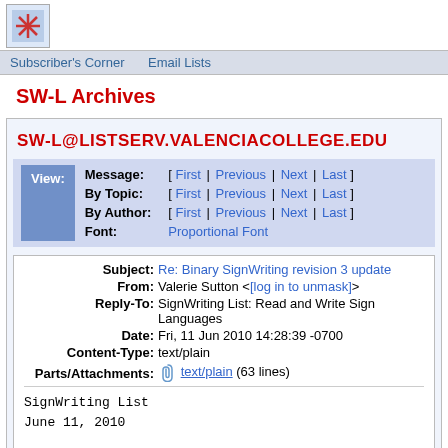[Figure (logo): LISTSERV logo icon with star/asterisk symbol in blue box]
Subscriber's Corner   Email Lists
SW-L Archives
SW-L@LISTSERV.VALENCIACOLLEGE.EDU
| View: | Message: | [ First | Previous | Next | Last ] |
|  | By Topic: | [ First | Previous | Next | Last ] |
|  | By Author: | [ First | Previous | Next | Last ] |
|  | Font: | Proportional Font |
| Subject: | Re: Binary SignWriting revision 3 update |
| From: | Valerie Sutton <[log in to unmask]> |
| Reply-To: | SignWriting List: Read and Write Sign Languages |
| Date: | Fri, 11 Jun 2010 14:28:39 -0700 |
| Content-Type: | text/plain |
| Parts/Attachments: | text/plain (63 lines) |
SignWriting List
June 11, 2010

Hello Steve!